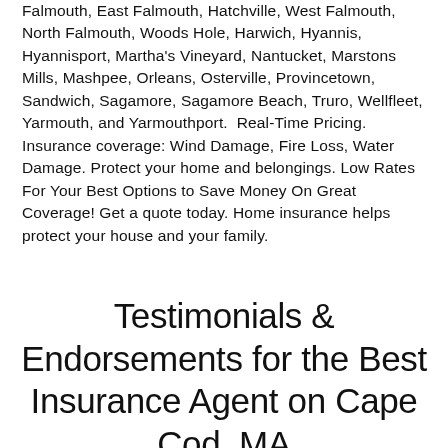Falmouth, East Falmouth, Hatchville, West Falmouth, North Falmouth, Woods Hole, Harwich, Hyannis, Hyannisport, Martha's Vineyard, Nantucket, Marstons Mills, Mashpee, Orleans, Osterville, Provincetown, Sandwich, Sagamore, Sagamore Beach, Truro, Wellfleet, Yarmouth, and Yarmouthport.  Real-Time Pricing. Insurance coverage: Wind Damage, Fire Loss, Water Damage. Protect your home and belongings. Low Rates For Your Best Options to Save Money On Great Coverage! Get a quote today. Home insurance helps protect your house and your family.
Testimonials & Endorsements for the Best Insurance Agent on Cape Cod, MA